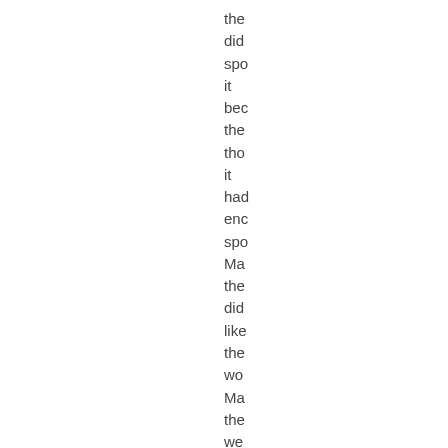the
did
spo
it
bec
the
tho
it
had
enc
spo
Ma
the
did
like
the
wo
Ma
the
we
rea
anc
tho